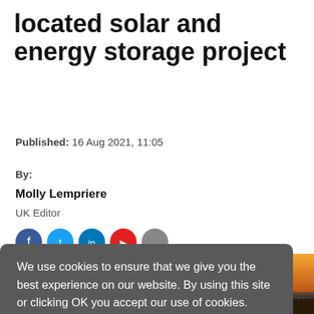located solar and energy storage project
Published: 16 Aug 2021, 11:05
By:
Molly Lempriere
UK Editor
We use cookies to ensure that we give you the best experience on our website. By using this site or clicking OK you accept our use of cookies. Cookie Policy
OK